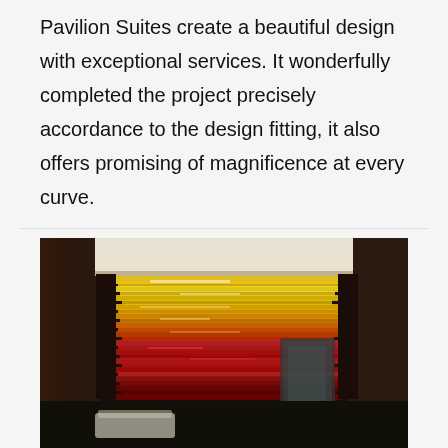Pavilion Suites create a beautiful design with exceptional services. It wonderfully completed the project precisely accordance to the design fitting, it also offers promising of magnificence at every curve.
[Figure (photo): Interior photo showing a decorative wall with horizontal glass or acrylic strips arranged in layers, creating a gradient from yellow/gold at the top to red/crimson at the bottom, set against dark marble walls with a seating area visible.]